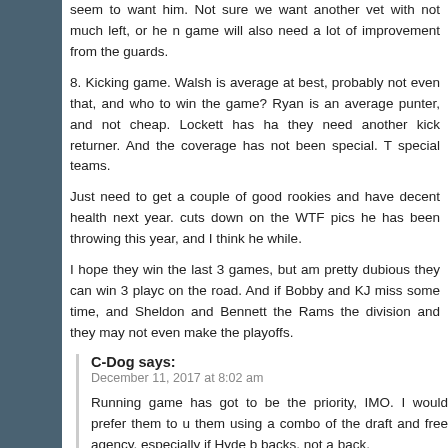seem to want him. Not sure we want another vet with not much left, or he n game will also need a lot of improvement from the guards.
8. Kicking game. Walsh is average at best, probably not even that, and who to win the game? Ryan is an average punter, and not cheap. Lockett has ha they need another kick returner. And the coverage has not been special. T special teams.
Just need to get a couple of good rookies and have decent health next year. cuts down on the WTF pics he has been throwing this year, and I think he while.
I hope they win the last 3 games, but am pretty dubious they can win 3 play on the road. And if Bobby and KJ miss some time, and Sheldon and Bennett the Rams the division and they may not even make the playoffs.
C-Dog says:
December 11, 2017 at 8:02 am
Running game has got to be the priority, IMO. I would prefer them to u them using a combo of the draft and free agency, especially if Hyde b backs, not a back.
What was most troubling about the McDowell arrest was his bizarre b concerns. I just have a unsettling feeling about his situation on the whole
In terms of #3, I agree that none of these guys are must re-signs, but c the closest. I wonder what the feeling is with the team. They've been pre
Greg Haugsven says:
December 11, 2017 at 8:50 am